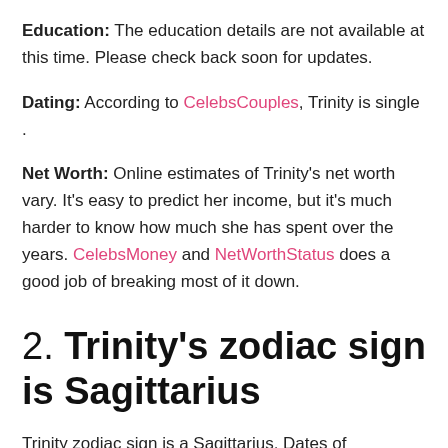Education: The education details are not available at this time. Please check back soon for updates.
Dating: According to CelebsCouples, Trinity is single .
Net Worth: Online estimates of Trinity's net worth vary. It's easy to predict her income, but it's much harder to know how much she has spent over the years. CelebsMoney and NetWorthStatus does a good job of breaking most of it down.
2. Trinity's zodiac sign is Sagittarius
Trinity zodiac sign is a Sagittarius. Dates of Sagittarius are November 22 - December 21. The Sagittarius zodiac sign often